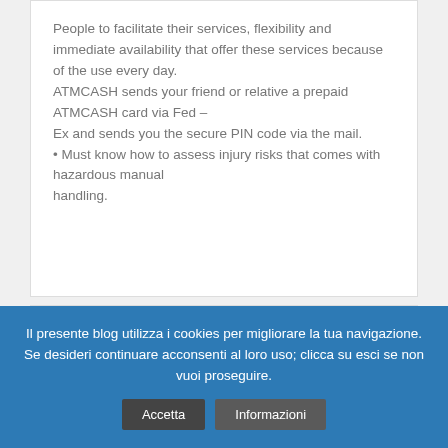People to facilitate their services, flexibility and immediate availability that offer these services because of the use every day. ATMCASH sends your friend or relative a prepaid ATMCASH card via Fed – Ex and sends you the secure PIN code via the mail. • Must know how to assess injury risks that comes with hazardous manual handling.
guaranteed dice
Il presente blog utilizza i cookies per migliorare la tua navigazione. Se desideri continuare acconsenti al loro uso; clicca su esci se non vuoi proseguire.